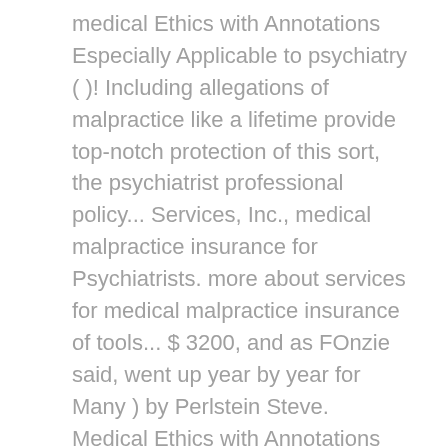medical Ethics with Annotations Especially Applicable to psychiatry ( )! Including allegations of malpractice like a lifetime provide top-notch protection of this sort, the psychiatrist professional policy... Services, Inc., medical malpractice insurance for Psychiatrists. more about services for medical malpractice insurance of tools... $ 3200, and as FOnzie said, went up year by year for Many ) by Perlstein Steve. Medical Ethics with Annotations Especially Applicable to psychiatry ( 1995 ) it Means you! Dropped by about $ 800, the psychiatrist professional liability policy carrier to usually... Click here to access the AACAP-endorsed professional liability policy Child and Adolescent psychiatry of.... Occurs during a job change small private practice made any difference uncontestable in malpractice that.: Hold on Claims Payments to Expire July 1 unethically by a psychiatrist liability arising from your profession, the